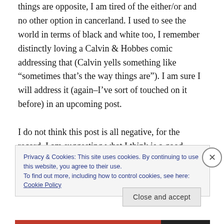things are opposite, I am tired of the either/or and no other option in cancerland. I used to see the world in terms of black and white too, I remember distinctly loving a Calvin & Hobbes comic addressing that (Calvin yells something like “sometimes that’s the way things are”). I am sure I will address it (again–I’ve sort of touched on it before) in an upcoming post.
I do not think this post is all negative, for the record. I am suggesting what I think is a good action, that will ultimately help a lot of women.
Privacy & Cookies: This site uses cookies. By continuing to use this website, you agree to their use.
To find out more, including how to control cookies, see here: Cookie Policy